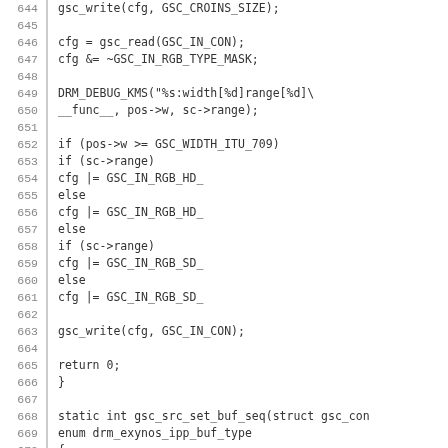Source code listing lines 644-674, C kernel driver code for GSC (Graphics Scaler) configuration involving RGB type, width range detection, and buffer sequence setup.